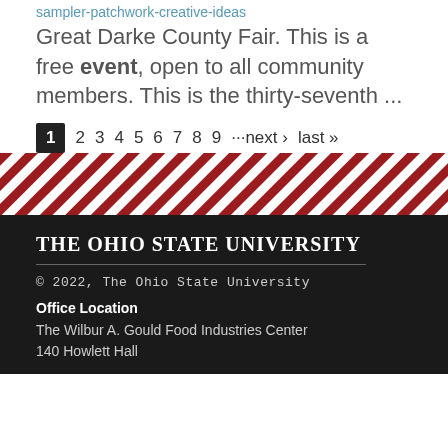sampler-patchwork-creative-ideas
Great Darke County Fair. This is a free event, open to all community members. This is the thirty-seventh ...
1 2 3 4 5 6 7 8 9 ···next › last »
[Figure (other): Diagonal red and white stripe decorative banner]
The Ohio State University
© 2022, The Ohio State University
Office Location
The Wilbur A. Gould Food Industries Center
140 Howlett Hall